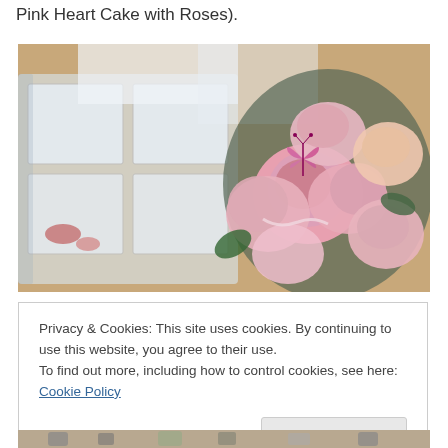Pink Heart Cake with Roses).
[Figure (photo): A photo showing a clear plastic compartment organizer box next to a bouquet of pink roses with a pink butterfly decoration, on a warm-toned surface.]
Privacy & Cookies: This site uses cookies. By continuing to use this website, you agree to their use.
To find out more, including how to control cookies, see here: Cookie Policy
Close and accept
[Figure (photo): Partial view of a second photo at the bottom of the page showing crafting or jewelry items.]